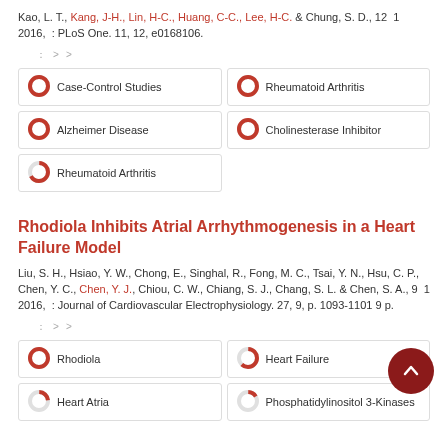Kao, L. T., Kang, J-H., Lin, H-C., Huang, C-C., Lee, H-C. & Chung, S. D., 12 1 2016, : PLoS One. 11, 12, e0168106.
Case-Control Studies
Rheumatoid Arthritis
Alzheimer Disease
Cholinesterase Inhibitor
Rheumatoid Arthritis
Rhodiola Inhibits Atrial Arrhythmogenesis in a Heart Failure Model
Liu, S. H., Hsiao, Y. W., Chong, E., Singhal, R., Fong, M. C., Tsai, Y. N., Hsu, C. P., Chen, Y. C., Chen, Y. J., Chiou, C. W., Chiang, S. J., Chang, S. L. & Chen, S. A., 9 1 2016, : Journal of Cardiovascular Electrophysiology. 27, 9, p. 1093-1101 9 p.
Rhodiola
Heart Failure
Heart Atria
Phosphatidylinositol 3-Kinases